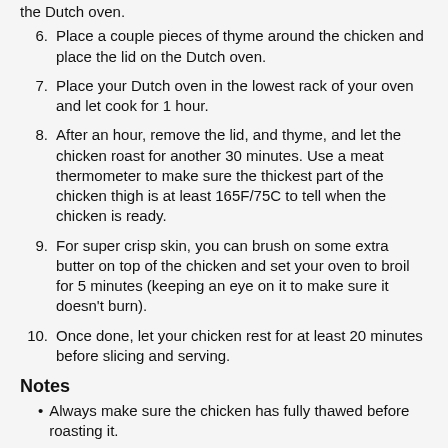the Dutch oven.
6. Place a couple pieces of thyme around the chicken and place the lid on the Dutch oven.
7. Place your Dutch oven in the lowest rack of your oven and let cook for 1 hour.
8. After an hour, remove the lid, and thyme, and let the chicken roast for another 30 minutes. Use a meat thermometer to make sure the thickest part of the chicken thigh is at least 165F/75C to tell when the chicken is ready.
9. For super crisp skin, you can brush on some extra butter on top of the chicken and set your oven to broil for 5 minutes (keeping an eye on it to make sure it doesn't burn).
10. Once done, let your chicken rest for at least 20 minutes before slicing and serving.
Notes
Always make sure the chicken has fully thawed before roasting it.
For more tips on making the perfect dutch oven chicken, check out the tips in the blog post!